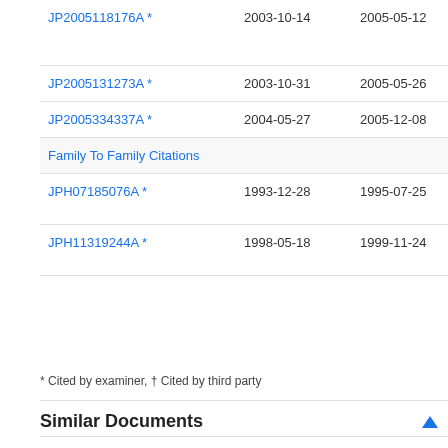| Publication | Filing Date | Publication Date | Assignee |
| --- | --- | --- | --- |
| JP2005118176A * | 2003-10-14 | 2005-05-12 | Sa... Pro... Ltd |
| JP2005131273A * | 2003-10-31 | 2005-05-26 | Sa... |
| JP2005334337A * | 2004-05-27 | 2005-12-08 | Sa... |
| Family To Family Citations |  |  |  |
| JPH07185076A * | 1993-12-28 | 1995-07-25 | Ace... De... |
| JPH11319244A * | 1998-05-18 | 1999-11-24 | Tai... Co... |
* Cited by examiner, † Cited by third party
Similar Documents